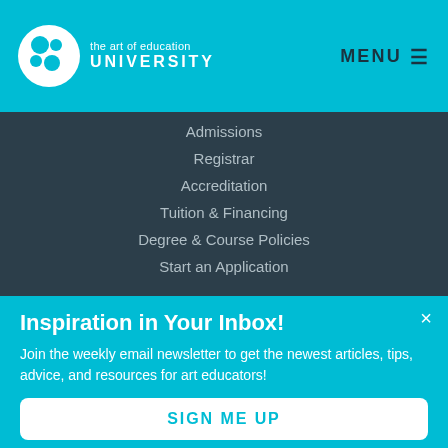[Figure (logo): The Art of Education University logo with teal circles icon and text]
Admissions
Registrar
Accreditation
Tuition & Financing
Degree & Course Policies
Start an Application
OFFERINGS
Online Degree Programs
Inspiration in Your Inbox!
Join the weekly email newsletter to get the newest articles, tips, advice, and resources for art educators!
SIGN ME UP